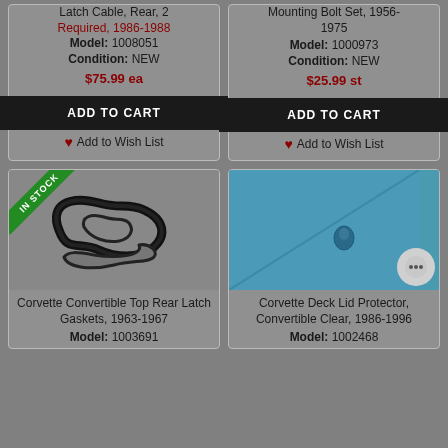Latch Cable, Rear, 2 Required, 1986-1988
Model: 1008051
Condition: NEW
$75.99 ea
ADD TO CART
Add to Wish List
Mounting Bolt Set, 1956-1975
Model: 1000973
Condition: NEW
$25.99 st
ADD TO CART
Add to Wish List
[Figure (photo): Corvette Convertible Top Rear Latch Gaskets product photo with IN STOCK badge]
Corvette Convertible Top Rear Latch Gaskets, 1963-1967
Model: 1003691
[Figure (photo): Corvette Deck Lid Protector Convertible Clear product photo (teal/blue surface) with IN STOCK badge]
Corvette Deck Lid Protector, Convertible Clear, 1986-1996
Model: 1002468